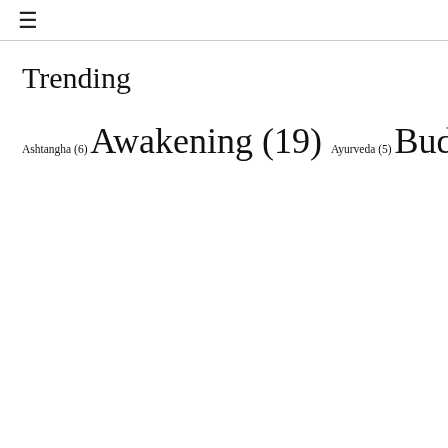☰
Trending
Ashtangha (6) Awakening (19) Ayurveda (5) Buddhism (21) Chakras (12) Ego (6) Elements (5) Energy Arts (21) Enlightenment (23) God (29) Guru (28) Gyana (27) Hatha Yoga (8) Healing (13) Health (7) Illness (8) Intention (53) Jung (7) Kundalini (20) Leadership (12) Love (12) Magic (13) Manifestation (5) Mastery (40) MBSR (7) Meditation (37) Mindfulness (7)